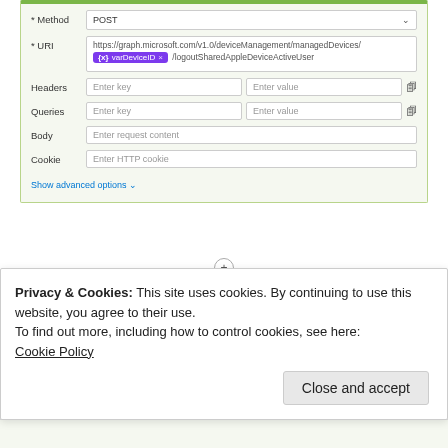[Figure (screenshot): HTTP POST form card showing Method set to POST and URI containing https://graph.microsoft.com/v1.0/deviceManagement/managedDevices/ with varDeviceID variable badge and /logoutSharedAppleDeviceActiveUser path. Fields for Headers, Queries, Body (Enter request content), Cookie (Enter HTTP cookie), and Show advanced options link.]
[Figure (screenshot): HTTP Update device name card showing Method POST and URI https://graph.microsoft.com/beta/deviceManagement/managedDevices/ with varDeviceID variable badge and /setDeviceName path.]
Privacy & Cookies: This site uses cookies. By continuing to use this website, you agree to their use.
To find out more, including how to control cookies, see here:
Cookie Policy
Close and accept